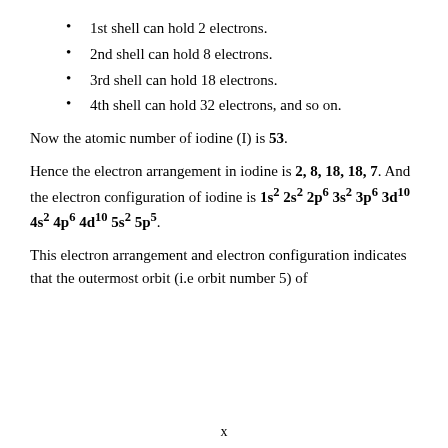1st shell can hold 2 electrons.
2nd shell can hold 8 electrons.
3rd shell can hold 18 electrons.
4th shell can hold 32 electrons, and so on.
Now the atomic number of iodine (I) is 53.
Hence the electron arrangement in iodine is 2, 8, 18, 18, 7. And the electron configuration of iodine is 1s² 2s² 2p⁶ 3s² 3p⁶ 3d¹⁰ 4s² 4p⁶ 4d¹⁰ 5s² 5p⁵.
This electron arrangement and electron configuration indicates that the outermost orbit (i.e orbit number 5) of
x